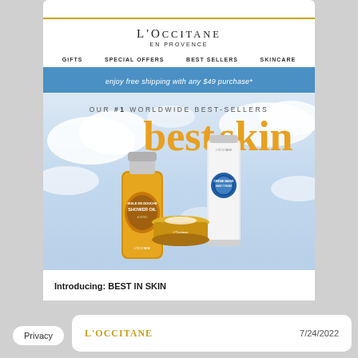L'OCCITANE EN PROVENCE
GIFTS
SPECIAL OFFERS
BEST SELLERS
SKINCARE
enjoy free shipping with any $49 purchase*
[Figure (photo): L'Occitane best-sellers promotional email image showing 'OUR #1 WORLDWIDE BEST-SELLERS best in skin' headline with product photos: Almond Shower Oil bottle, Shea Hand Cream tube, and a small cream pot against a cloudy sky background]
Introducing: BEST IN SKIN
L'OCCITANE
7/24/2022